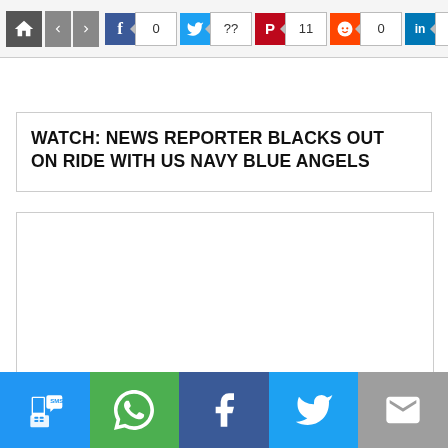Navigation bar with home, back, forward buttons and social share counts: Facebook 0, Twitter ??, Pinterest 11, Reddit 0, LinkedIn ??
WATCH: NEWS REPORTER BLACKS OUT ON RIDE WITH US NAVY BLUE ANGELS
[Figure (other): Empty white content card / embedded video placeholder]
Bottom share bar: SMS, WhatsApp, Facebook, Twitter, Email